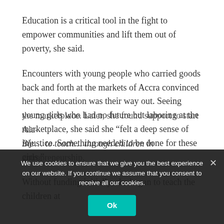Education is a critical tool in the fight to empower communities and lift them out of poverty, she said.
Encounters with young people who carried goods back and forth at the markets of Accra convinced her that education was their way out. Seeing young girls who had no future but laboring at the marketplace, she said she “felt a deep sense of injustice. Something needed to be done for these girls.”
Without funding initially, she began to teach the children at the marketplace. Later, she found support to start Ala- [truncated behind cookie overlay]
We use cookies to ensure that we give you the best experience on our website. If you continue we assume that you consent to receive all our cookies.